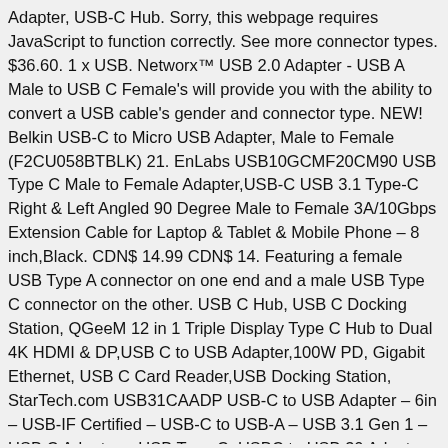Adapter, USB-C Hub. Sorry, this webpage requires JavaScript to function correctly. See more connector types. $36.60. 1 x USB. Networx™ USB 2.0 Adapter - USB A Male to USB C Female's will provide you with the ability to convert a USB cable's gender and connector type. NEW! Belkin USB-C to Micro USB Adapter, Male to Female (F2CU058BTBLK) 21. EnLabs USB10GCMF20CM90 USB Type C Male to Female Adapter,USB-C USB 3.1 Type-C Right & Left Angled 90 Degree Male to Female 3A/10Gbps Extension Cable for Laptop & Tablet & Mobile Phone – 8 inch,Black. CDN$ 14.99 CDN$ 14. Featuring a female USB Type A connector on one end and a male USB Type C connector on the other. USB C Hub, USB C Docking Station, QGeeM 12 in 1 Triple Display Type C Hub to Dual 4K HDMI & DP,USB C to USB Adapter,100W PD, Gigabit Ethernet, USB C Card Reader,USB Docking Station, StarTech.com USB31CAADP USB-C to USB Adapter – 6in – USB-IF Certified – USB-C to USB-A – USB 3.1 Gen 1 – USB C Adapter – USB Type C, USBC to USB 30 Adapter 90 Degree USB C Male to USB A Female OTG Cable Adapter Compatible with MacBook Pro Samsung Note 8 Dell XPS